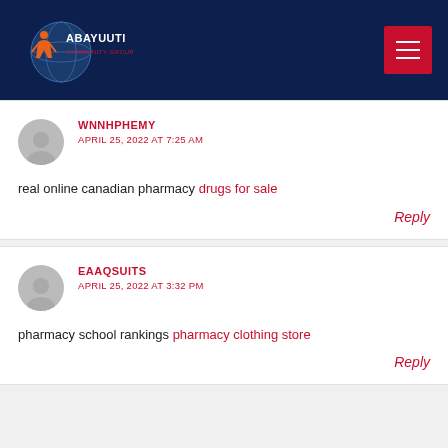[Figure (logo): Abayuuti Community Group logo with globe and figure on dark navy background, with hamburger menu button in red on right]
WNNHPHEMY
APRIL 25, 2022 AT 7:25 AM
real online canadian pharmacy drugs for sale
Reply
EAAQSUITS
APRIL 25, 2022 AT 3:32 PM
pharmacy school rankings pharmacy clothing store
Reply